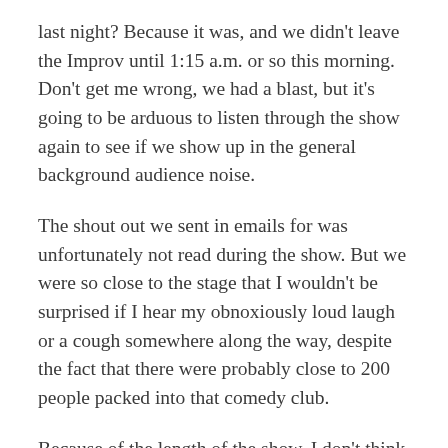last night? Because it was, and we didn't leave the Improv until 1:15 a.m. or so this morning. Don't get me wrong, we had a blast, but it's going to be arduous to listen through the show again to see if we show up in the general background audience noise.
The shout out we sent in emails for was unfortunately not read during the show. But we were so close to the stage that I wouldn't be surprised if I hear my obnoxiously loud laugh or a cough somewhere along the way, despite the fact that there were probably close to 200 people packed into that comedy club.
Because of the length of the show, I don't think it would be healthy for me to lose much more sleep just to break the whole thing down. Long story short, it was super fun, I might link to the audio once this episode goes up and I probably won't ever listen to Babble-On the same way